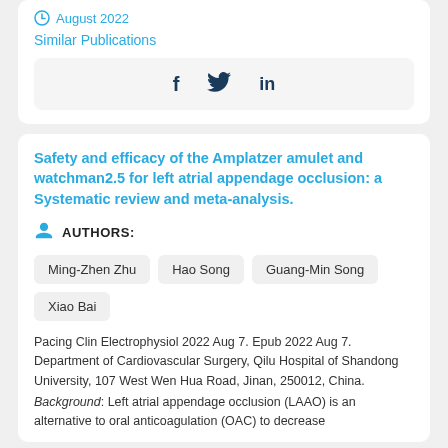August 2022
Similar Publications
[Figure (other): Social sharing icons: Facebook (f), Twitter (bird), LinkedIn (in)]
Safety and efficacy of the Amplatzer amulet and watchman2.5 for left atrial appendage occlusion: a Systematic review and meta-analysis.
AUTHORS:
Ming-Zhen Zhu
Hao Song
Guang-Min Song
Xiao Bai
Pacing Clin Electrophysiol 2022 Aug 7. Epub 2022 Aug 7. Department of Cardiovascular Surgery, Qilu Hospital of Shandong University, 107 West Wen Hua Road, Jinan, 250012, China.
Background: Left atrial appendage occlusion (LAAO) is an alternative to oral anticoagulation (OAC) to decrease